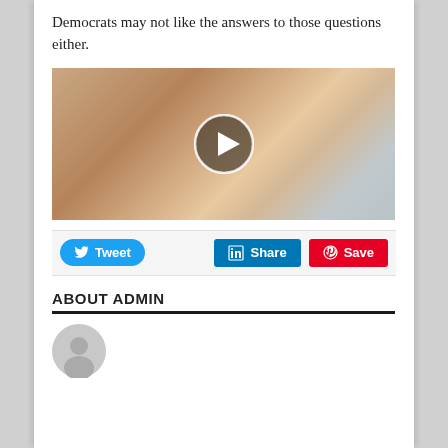Democrats may not like the answers to those questions either.
[Figure (photo): Video thumbnail showing a close-up of skin with cream being applied, with a play button overlay circle in the center.]
[Figure (infographic): Social sharing buttons: Tweet (Twitter, blue rounded), Share (LinkedIn, blue square), Save (Pinterest, red square)]
ABOUT ADMIN
[Figure (photo): Gray avatar placeholder circle for admin profile image, partially visible at bottom.]